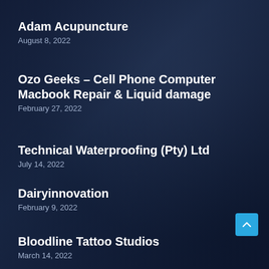Adam Acupuncture
August 8, 2022
Ozo Geeks – Cell Phone Computer Macbook Repair & Liquid damage
February 27, 2022
Technical Waterproofing (Pty) Ltd
July 14, 2022
Dairyinnovation
February 9, 2022
Bloodline Tattoo Studios
March 14, 2022